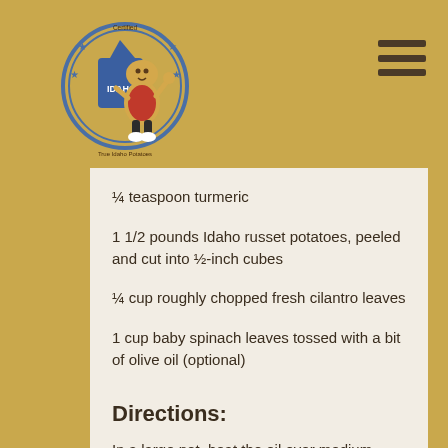[Figure (logo): Certified Idaho Potatoes logo with cartoon potato mascot character]
¼ teaspoon turmeric
1 1/2 pounds Idaho russet potatoes, peeled and cut into ½-inch cubes
¼ cup roughly chopped fresh cilantro leaves
1 cup baby spinach leaves tossed with a bit of olive oil (optional)
Directions:
In a large pot, heat the oil over medium